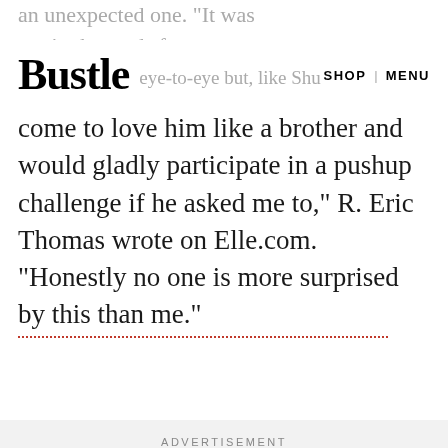Bustle | SHOP | MENU
an unexpected one. "It was not in the cards for me eye-to-eye but, like Shu come to love him like a brother and would gladly participate in a pushup challenge if he asked me to," R. Eric Thomas wrote on Elle.com. "Honestly no one is more surprised by this than me."
ADVERTISEMENT